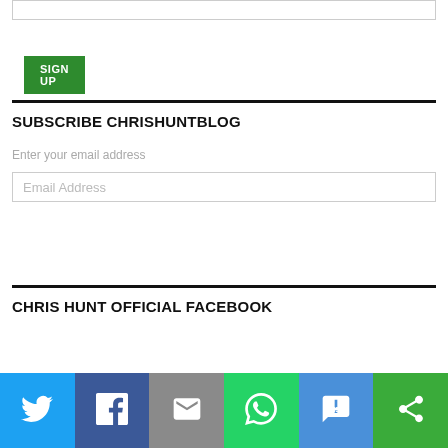[Figure (other): Input field at top of page (partially visible)]
SIGN UP
SUBSCRIBE CHRISHUNTBLOG
Enter your email address
Email Address
SUBSCRIBE
CHRIS HUNT OFFICIAL FACEBOOK
[Figure (infographic): Social sharing bar with icons: Twitter (blue), Facebook (dark blue), Email (gray), WhatsApp (green), SMS (blue), Share (green)]